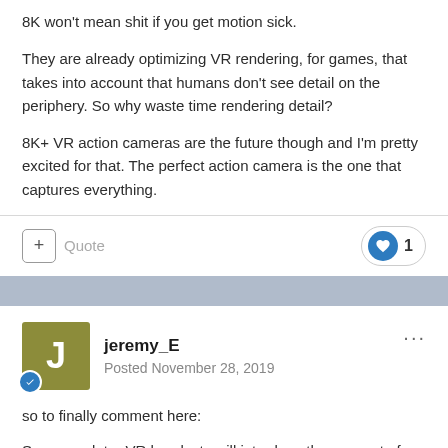8K won't mean shit if you get motion sick.
They are already optimizing VR rendering, for games, that takes into account that humans don't see detail on the periphery. So why waste time rendering detail?
8K+ VR action cameras are the future though and I'm pretty excited for that. The perfect action camera is the one that captures everything.
jeremy_E
Posted November 28, 2019
so to finally comment here:
Sooner or later VR headsets will introduce the concept of foveated rendering rather than 8k-- think a 1080p display just for the center part of your eye, which tracks your eye according...